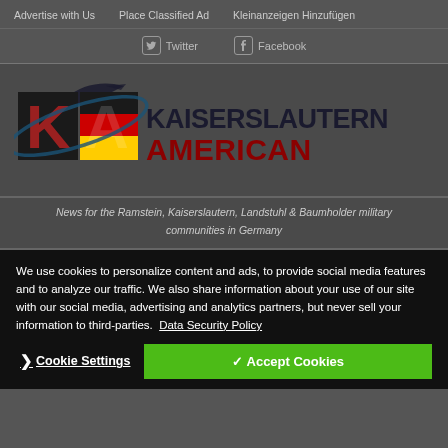Advertise with Us   Place Classified Ad   Kleinanzeigen Hinzufügen
Twitter   Facebook
[Figure (logo): Kaiserslautern American newspaper logo with KA monogram featuring US and German flag colors, airplane graphic, and text KAISERSLAUTERN AMERICAN]
News for the Ramstein, Kaiserslautern, Landstuhl & Baumholder military communities in Germany
We use cookies to personalize content and ads, to provide social media features and to analyze our traffic. We also share information about your use of our site with our social media, advertising and analytics partners, but never sell your information to third-parties. Data Security Policy
❯ Cookie Settings   ✓ Accept Cookies